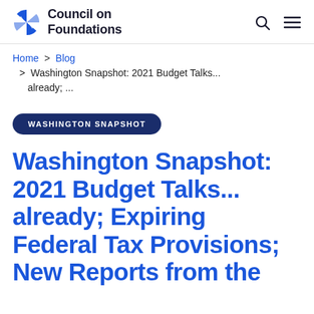Council on Foundations
Home > Blog > Washington Snapshot: 2021 Budget Talks... already; ...
WASHINGTON SNAPSHOT
Washington Snapshot: 2021 Budget Talks... already; Expiring Federal Tax Provisions; New Reports from the